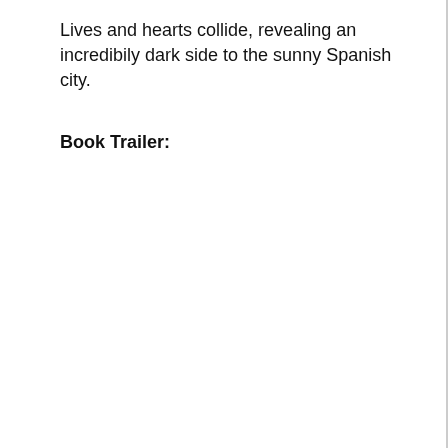Lives and hearts collide, revealing an incredibily dark side to the sunny Spanish city.
Book Trailer: